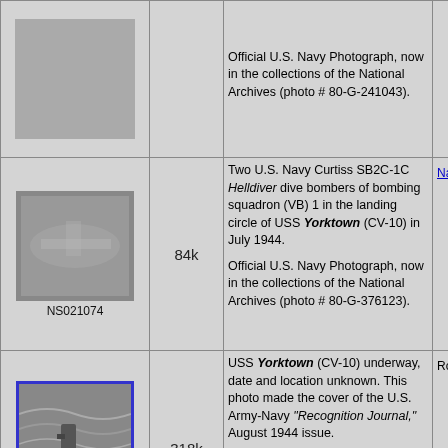| Thumbnail | Size | Description | Link |
| --- | --- | --- | --- |
| [image top row] |  | Official U.S. Navy Photograph, now in the collections of the National Archives (photo # 80-G-241043). |  |
| NS021074 | 84k | Two U.S. Navy Curtiss SB2C-1C Helldiver dive bombers of bombing squadron (VB) 1 in the landing circle of USS Yorktown (CV-10) in July 1944. Official U.S. Navy Photograph, now in the collections of the National Archives (photo # 80-G-376123). | Na |
| NS021045 | 318k | USS Yorktown (CV-10) underway, date and location unknown. This photo made the cover of the U.S. Army-Navy "Recognition Journal," August 1944 issue. National Archives photo (# 80-G-414666) by by Lieutenant Commander Charles Kerlee, USNR. | Ro |
| [image] | 101k | USS Yorktown (CV-10) running trials, 30 September 1944, after a... | Ro |